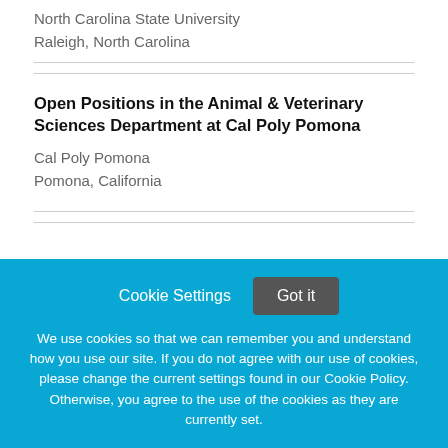North Carolina State University
Raleigh, North Carolina
Open Positions in the Animal & Veterinary Sciences Department at Cal Poly Pomona
Cal Poly Pomona
Pomona, California
Cookie Settings
Got it
We use cookies so that we can remember you and understand how you use our site. If you do not agree with our use of cookies, please change the current settings found in our Cookie Policy. Otherwise, you agree to the use of the cookies as they are currently set.